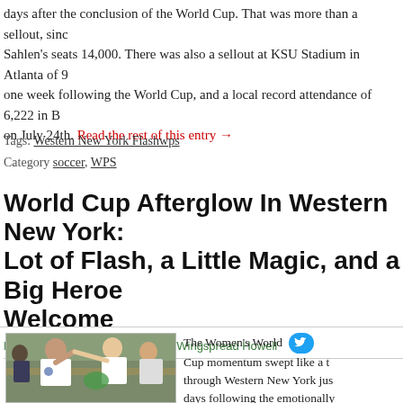days after the conclusion of the World Cup. That was more than a sellout, since Sahlen's seats 14,000. There was also a sellout at KSU Stadium in Atlanta of one week following the World Cup, and a local record attendance of 6,222 in B on July 24th. Read the rest of this entry →
Tags: Western New York Flashwps
Category: soccer, WPS
World Cup Afterglow In Western New York: Lot of Flash, a Little Magic, and a Big Heroes Welcome
Posted on July 21, 2011 by John Wingspread Howell
[Figure (photo): Photo of a woman in white soccer jersey high-fiving fans or young players at an outdoor event, with other people visible in the background.]
The Women's World Cup momentum swept like a through Western New York just days following the emotionally draining, ultimately disappointing defeat in the finals, by Cinderella Japan.